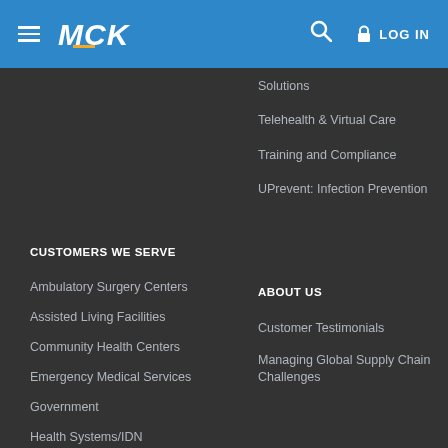[Figure (logo): MCK logo with hamburger menu, search icon, and LOG IN button on blue header bar]
Solutions
Telehealth & Virtual Care
Training and Compliance
UPrevent: Infection Prevention
CUSTOMERS WE SERVE
Ambulatory Surgery Centers
Assisted Living Facilities
Community Health Centers
Emergency Medical Services
Government
Health Systems/IDN
Home Health Agencies
Home Infusion Therapy
Home Medical Equipment
Hospital and Control Labs
ABOUT US
Customer Testimonials
Managing Global Supply Chain Challenges